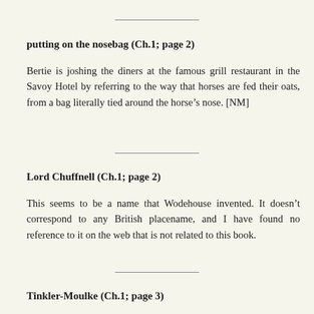putting on the nosebag (Ch.1; page 2)
Bertie is joshing the diners at the famous grill restaurant in the Savoy Hotel by referring to the way that horses are fed their oats, from a bag literally tied around the horse’s nose. [NM]
Lord Chuffnell (Ch.1; page 2)
This seems to be a name that Wodehouse invented. It doesn’t correspond to any British placename, and I have found no reference to it on the web that is not related to this book.
Tinkler-Moulke (Ch.1; page 3)